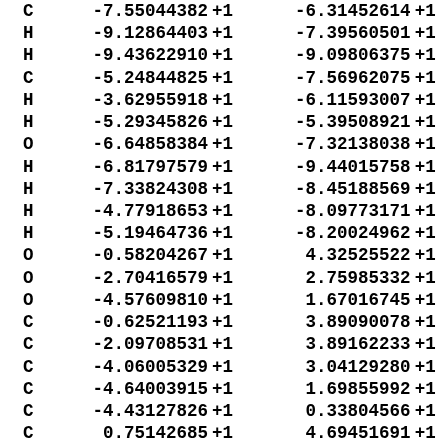| Atom | X |  | Y |  | Z (partial) |
| --- | --- | --- | --- | --- | --- |
| C | -7.55044382 | +1 | -6.31452614 | +1 |
| H | -9.12864403 | +1 | -7.39560501 | +1 |
| H | -9.43622910 | +1 | -9.09806375 | +1 |
| C | -5.24844825 | +1 | -7.56962075 | +1 |
| H | -3.62955918 | +1 | -6.11593007 | +1 |
| H | -5.29345826 | +1 | -5.39508921 | +1 |
| O | -6.64858384 | +1 | -7.32138038 | +1 |
| H | -6.81797579 | +1 | -9.44015758 | +1 |
| H | -7.33824308 | +1 | -8.45188569 | +1 |
| H | -4.77918653 | +1 | -8.09773171 | +1 |
| H | -5.19464736 | +1 | -8.20024962 | +1 |
| O | -0.58204267 | +1 | 4.32525522 | +1 |
| O | -2.70416579 | +1 | 2.75985332 | +1 |
| O | -4.57609810 | +1 | 1.67016745 | +1 |
| C | -0.62521193 | +1 | 3.89090078 | +1 |
| C | -2.09708531 | +1 | 3.89162233 | +1 |
| C | -4.06005329 | +1 | 3.04129280 | +1 |
| C | -4.64003915 | +1 | 1.69855992 | +1 |
| C | -4.43127826 | +1 | 0.33804566 | +1 |
| C | 0.75142685 | +1 | 4.69451691 | +1 |